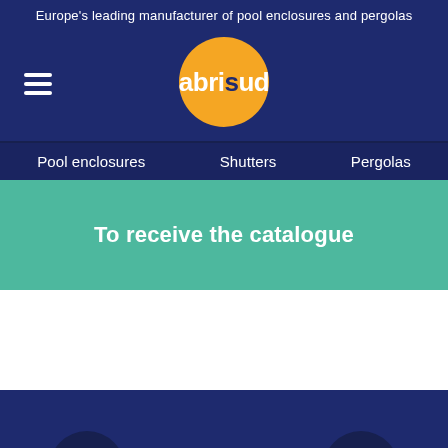Europe's leading manufacturer of pool enclosures and pergolas
[Figure (logo): Abrisud logo: orange circle with white text 'abrisud']
Pool enclosures    Shutters    Pergolas
To receive the catalogue
[Figure (illustration): Person/user icon inside a dark navy circle]
Call back
Free quotation
[Figure (illustration): Calculator icon inside a dark navy circle]
Catalogue